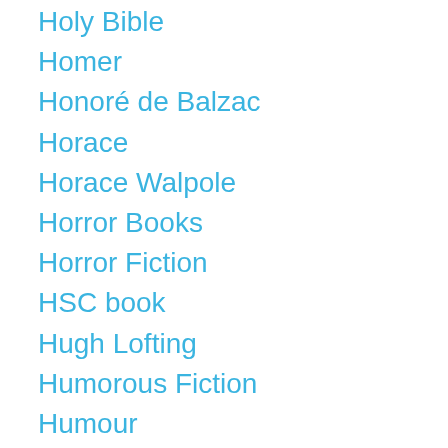Holy Bible
Homer
Honoré de Balzac
Horace
Horace Walpole
Horror Books
Horror Fiction
HSC book
Hugh Lofting
Humorous Fiction
Humour
Immanuel Kant
Influential books